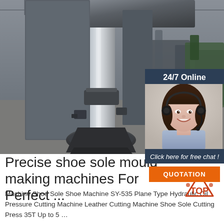[Figure (photo): Photo of an industrial factory floor with a hydraulic press or shoe mould making machine in the foreground, steel machinery, and a large warehouse space in the background.]
[Figure (photo): Chat widget overlay showing a female customer service representative wearing a headset, smiling, with '24/7 Online' header, 'Click here for free chat!' text, and an orange QUOTATION button.]
Precise shoe sole mould making machines For Perfect ...
Machine Shoe Sole Shoe Machine SY-535 Plane Type Hydraulic Oil Pressure Cutting Machine Leather Cutting Machine Shoe Sole Cutting Press 35T Up to 5 …